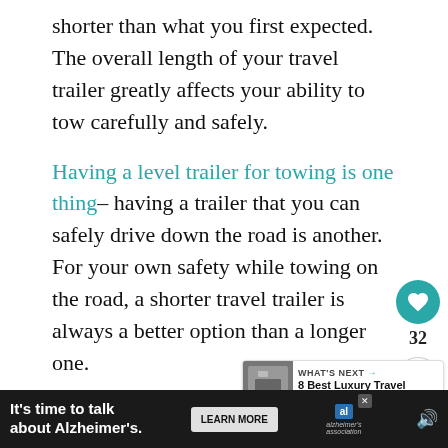shorter than what you first expected. The overall length of your travel trailer greatly affects your ability to tow carefully and safely.
Having a level trailer for towing is one thing– having a trailer that you can safely drive down the road is another. For your own safety while towing on the road, a shorter travel trailer is always a better option than a longer one.
While you may be thinking that a longer rig will give you more amenities, small and lightweight travel trailers are being given all the bells and whistles that you would normally expect in a much larger rig
[Figure (infographic): Heart/like button (teal circle with heart icon), count of 32, and share button (circle with share icon) floating on the right side]
[Figure (infographic): What's Next panel showing '8 Best Luxury Travel Traile...' with a thumbnail image]
[Figure (infographic): Advertisement bar: 'It's time to talk about Alzheimer's.' with LEARN MORE button and Alzheimer's Association logo]